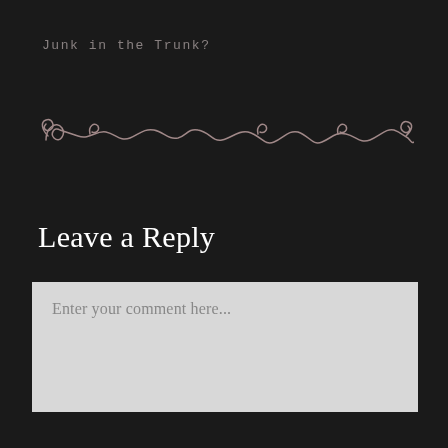Junk in the Trunk?
[Figure (illustration): Decorative curling vine/scroll divider line in muted rose/pink color on dark background]
Leave a Reply
Enter your comment here...